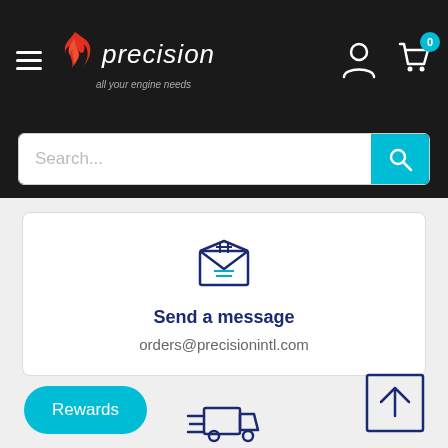[Figure (logo): Precision 'all your engine needs' logo with flame icon on black header]
[Figure (screenshot): Search bar with teal search button on dark background]
[Figure (illustration): Envelope/message icon in dark blue]
Send a message
orders@precisionintl.com
[Figure (illustration): Fast delivery truck icon with speed lines in dark blue]
Fast delivery worldwide
Items ready for shipping the day your order is placed